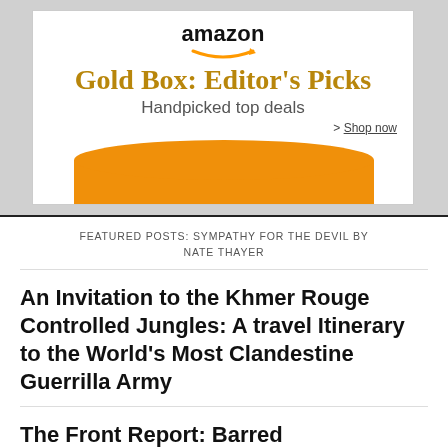[Figure (infographic): Amazon Gold Box: Editor's Picks advertisement banner with Amazon logo, smile arrow, gold text, 'Handpicked top deals', 'Shop now' link, and orange decorative crown/smile graphic at bottom.]
FEATURED POSTS: SYMPATHY FOR THE DEVIL BY NATE THAYER
An Invitation to the Khmer Rouge Controlled Jungles: A travel Itinerary to the World's Most Clandestine Guerrilla Army
The Front Report: Barred Tomorrowli…